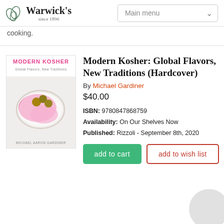Warwick's since 1896 | Main menu
cooking.
[Figure (screenshot): Book cover for Modern Kosher: Global Flavors, New Traditions by Michael Aaron Gardiner, showing pink sauce and food on a white plate on a light background]
Modern Kosher: Global Flavors, New Traditions (Hardcover)
By Michael Gardiner
$40.00
ISBN: 9780847868759
Availability: On Our Shelves Now
Published: Rizzoli - September 8th, 2020
add to cart
add to wish list